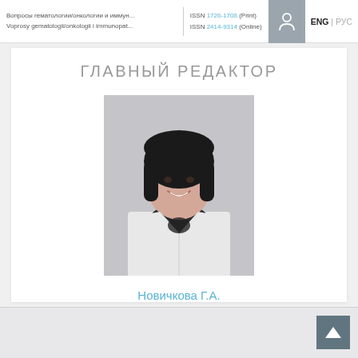Вопросы гематологии/онкологии и иммун...
Voprosy gematologii/onkologii i immunopat...
ISSN 1726-1708 (Print)
ISSN 2414-9314 (Online)
ENG | РУС
ГЛАВНЫЙ РЕДАКТОР
[Figure (photo): Portrait photo of editor Novichkova G.A., a woman with dark short hair wearing a white lab coat and dark patterned blouse, smiling.]
Новичкова Г.А.